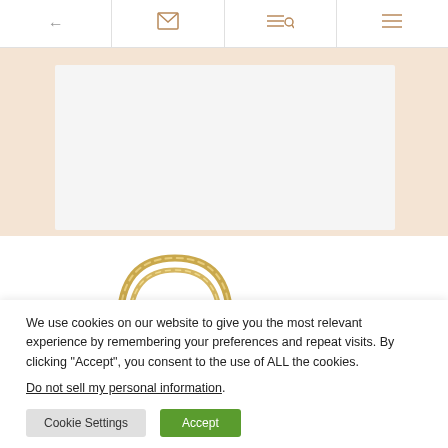← [mail icon] [search icon] [menu icon]
[Figure (photo): Peach/beige background with a light gray content card placeholder, and a partial view of a gold chain jewelry item below]
We use cookies on our website to give you the most relevant experience by remembering your preferences and repeat visits. By clicking “Accept”, you consent to the use of ALL the cookies.
Do not sell my personal information.
Cookie Settings  Accept